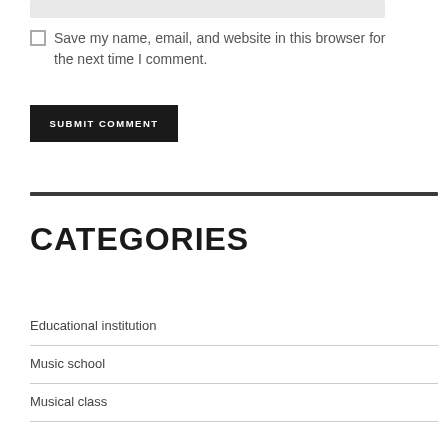Save my name, email, and website in this browser for the next time I comment.
SUBMIT COMMENT
CATEGORIES
Educational institution
Music school
Musical class